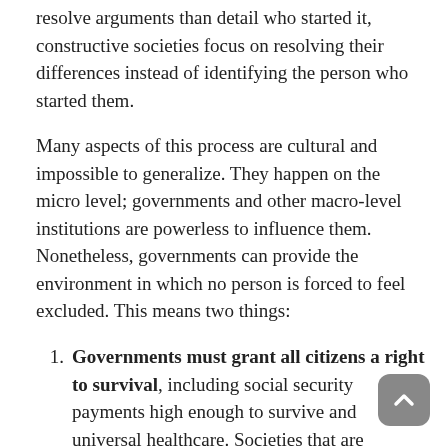resolve arguments than detail who started it, constructive societies focus on resolving their differences instead of identifying the person who started them.
Many aspects of this process are cultural and impossible to generalize. They happen on the micro level; governments and other macro-level institutions are powerless to influence them. Nonetheless, governments can provide the environment in which no person is forced to feel excluded. This means two things:
Governments must grant all citizens a right to survival, including social security payments high enough to survive and universal healthcare. Societies that are indifferent to the survival of some of their members force those members to become